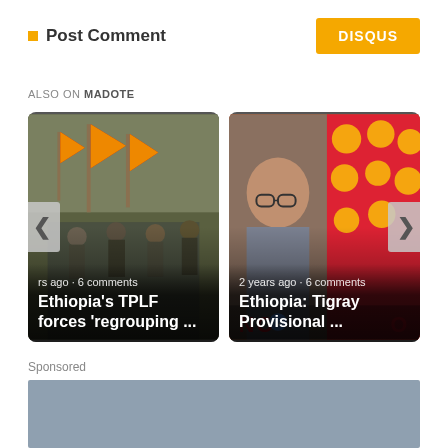Post Comment
DISQUS
ALSO ON MADOTE
[Figure (photo): Carousel with two article cards. Left card: soldiers marching with Tigray flags (red and yellow). Title: Ethiopia's TPLF forces 'regrouping ... — with left arrow navigation and text 'rs ago • 6 comments'. Right card: man with glasses and colorful patterned background. Title: Ethiopia: Tigray Provisional ... — with text '2 years ago • 6 comments' and right arrow navigation.]
Sponsored